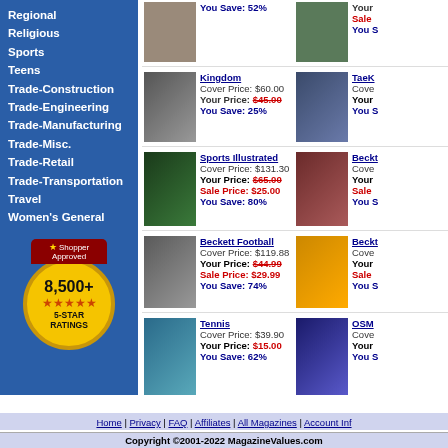Regional
Religious
Sports
Teens
Trade-Construction
Trade-Engineering
Trade-Manufacturing
Trade-Misc.
Trade-Retail
Trade-Transportation
Travel
Women's General
[Figure (logo): Shopper Approved badge with 8,500+ five-star ratings]
You Save: 52%
Kingdom
Cover Price: $60.00
Your Price: $45.00
You Save: 25%
TaeKwonDo Life
Cover...
Your...
You S...
Sports Illustrated
Cover Price: $131.30
Your Price: $65.00
Sale Price: $25.00
You Save: 80%
Beckett...
Cove...
Your...
Sale...
You S...
Beckett Football
Cover Price: $119.88
Your Price: $44.99
Sale Price: $29.99
You Save: 74%
Beckett Basketball
Cove...
Your...
Sale...
You S...
Tennis
Cover Price: $39.90
Your Price: $15.00
You Save: 62%
OSM...
Cove...
Your...
You S...
Home | Privacy | FAQ | Affiliates | All Magazines | Account Info
Copyright ©2001-2022 MagazineValues.com